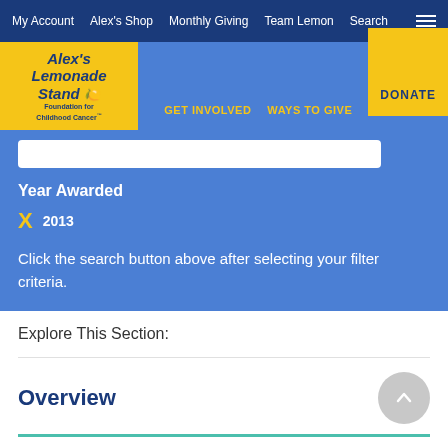My Account  Alex's Shop  Monthly Giving  Team Lemon  Search
[Figure (logo): Alex's Lemonade Stand Foundation for Childhood Cancer logo on yellow background]
GET INVOLVED  WAYS TO GIVE  DONATE
Year Awarded
X  2013
Click the search button above after selecting your filter criteria.
Explore This Section:
Overview
ALSF Funded Projects